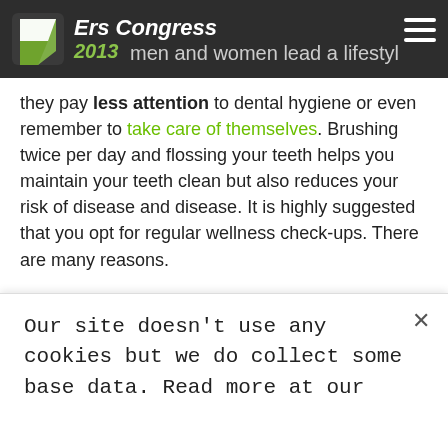Ers Congress 2013
men and women lead a lifestyle that is hectic and they pay less attention to dental hygiene or even remember to take care of themselves. Brushing twice per day and flossing your teeth helps you maintain your teeth clean but also reduces your risk of disease and disease. It is highly suggested that you opt for regular wellness check-ups. There are many reasons.
Despite the fact that you might keep your mouth clean and fresh, you may not have the ability clear the cavities between your teeth.
Our site doesn't use any cookies but we do collect some base data. Read more at our